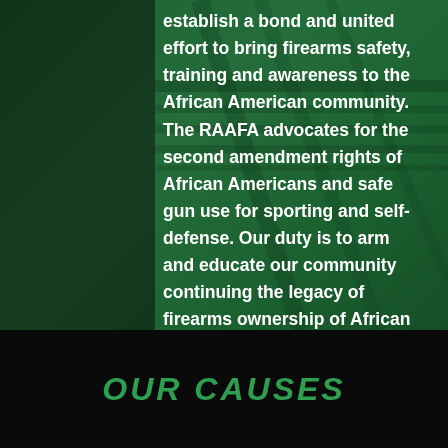establish a bond and united effort to bring firearms safety, training and awareness to the African American community. The RAAFA advocates for the second amendment rights of African Americans and safe gun use for sporting and self-defense. Our duty is to arm and educate our community continuing the legacy of firearms ownership of African Americans in the United States.
OUR CAUSES